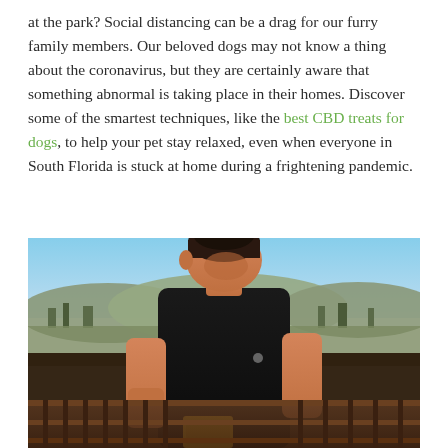at the park? Social distancing can be a drag for our furry family members. Our beloved dogs may not know a thing about the coronavirus, but they are certainly aware that something abnormal is taking place in their homes. Discover some of the smartest techniques, like the best CBD treats for dogs, to help your pet stay relaxed, even when everyone in South Florida is stuck at home during a frightening pandemic.
[Figure (photo): A young man with a fade haircut wearing a black t-shirt, looking down, standing on a balcony or rooftop with a railing visible. Hills and blue sky are visible in the background. He appears to be holding something small (possibly a CBD treat package visible at the bottom).]